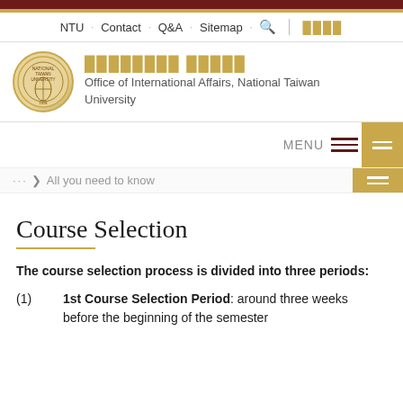NTU · Contact · Q&A · Sitemap 🔍 ████
[Figure (logo): NTU Office of International Affairs logo - circular emblem with gold border]
████████ █████
Office of International Affairs, National Taiwan University
MENU
... > All you need to know
Course Selection
The course selection process is divided into three periods:
(1) 1st Course Selection Period: around three weeks before the beginning of the semester